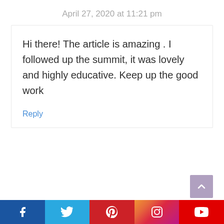April 27, 2020 at 11:21 pm
Hi there! The article is amazing . I followed up the summit, it was lovely and highly educative. Keep up the good work
Reply